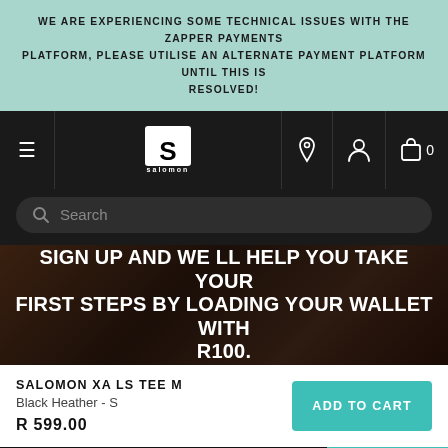WE ARE EXPERIENCING SOME TECHNICAL ISSUES WITH THE ZAPPER PAYMENTS PLATFORM, PLEASE UTILISE AN ALTERNATE PAYMENT PLATFORM UNTIL THIS IS RESOLVED!
[Figure (screenshot): Salomon e-commerce website navigation bar with hamburger menu, Salomon logo (TIME TO PLAY), location pin icon, user account icon, and cart icon with 0 items]
[Figure (screenshot): Search bar on dark background with magnifying glass icon and placeholder text 'Search']
SIGN UP AND WE LL HELP YOU TAKE YOUR FIRST STEPS BY LOADING YOUR WALLET WITH R100.
SALOMON XA LS TEE M
Black Heather - S
R 599.00
ADD TO CART
BE A SALOMON INSIDER! SUBSCRIBE
SUBSCRIBE